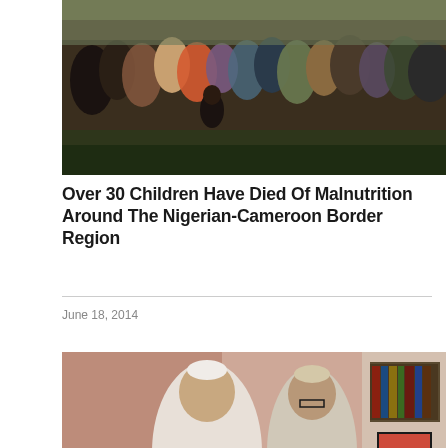[Figure (photo): Group of people gathered outdoors, appears to be in Nigeria near Cameroon border region]
Over 30 Children Have Died Of Malnutrition Around The Nigerian-Cameroon Border Region
June 18, 2014
[Figure (photo): Two men in traditional Nigerian attire shaking hands in an ornate room with red sofas and bookshelves]